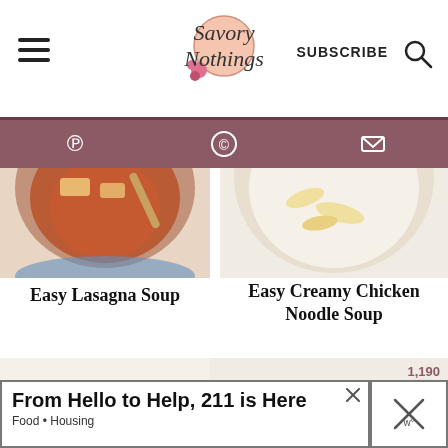Savory Nothings — SUBSCRIBE
[Figure (screenshot): Navigation bar with hamburger menu, Savory Nothings logo, Subscribe text, and search icon]
[Figure (screenshot): Mauve/rose social share bar with Pinterest, WhatsApp, and email icons]
[Figure (photo): Partial circular photo of lasagna soup in a pot from overhead]
Easy Lasagna Soup
[Figure (photo): Partial circular photo of creamy chicken noodle soup]
Easy Creamy Chicken Noodle Soup
[Figure (photo): Circular photo of creamy potato soup with cheese and chives in a bowl]
[Figure (photo): Circular photo of creamy chicken corn chowder with vegetables, with 1,190 save count and action icons]
[Figure (screenshot): Advertisement banner: From Hello to Help, 211 is Here — Food • Housing]